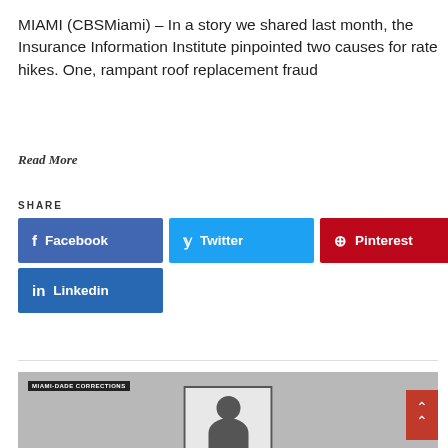MIAMI (CBSMiami) – In a story we shared last month, the Insurance Information Institute pinpointed two causes for rate hikes. One, rampant roof replacement fraud
Read More
SHARE
[Figure (other): Social share buttons: Facebook, Twitter, Pinterest, Linkedin]
[Figure (photo): News image with MIAMI-DADE CORRECTIONS label showing a mugshot photo of a person]